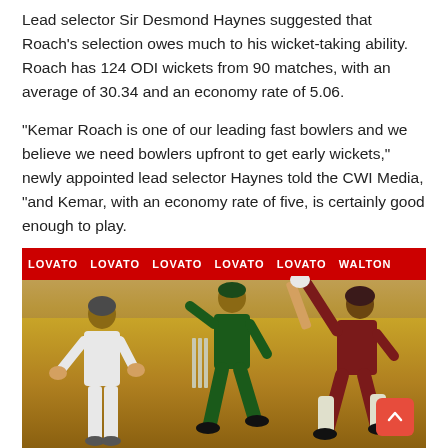Lead selector Sir Desmond Haynes suggested that Roach's selection owes much to his wicket-taking ability. Roach has 124 ODI wickets from 90 matches, with an average of 30.34 and an economy rate of 5.06.
“Kemar Roach is one of our leading fast bowlers and we believe we need bowlers upfront to get early wickets,” newly appointed lead selector Haynes told the CWI Media, “and Kemar, with an economy rate of five, is certainly good enough to play.
[Figure (photo): Cricket match photo showing three players on a cricket field: a wicket-keeper in white on the left, a bowler in dark green in the centre, and a West Indies batsman in maroon on the right playing a shot. Stumps visible in background. Red advertising banners for Lovato visible along the boundary.]